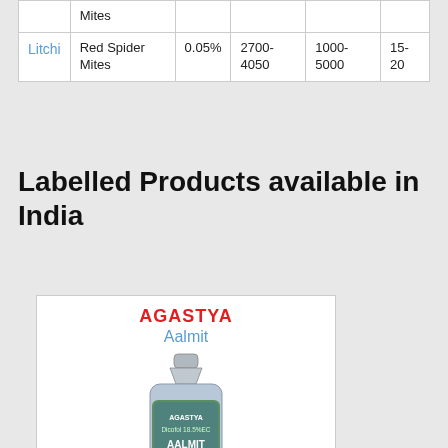| Crop | Pest/Disease | Concentration | Dilution (ml/ha) | Water (L/ha) | Interval (days) |
| --- | --- | --- | --- | --- | --- |
|  | Mites |  |  |  |  |
| Litchi | Red Spider Mites | 0.05% | 2700-4050 | 1000-5000 | 15-20 |
Labelled Products available in India
[Figure (photo): Product bottle for AGASTYA Aalmit (Dicofol 18.5% EC acaricide) in a metallic/silver bottle with green-blue label showing a diamond hazard symbol]